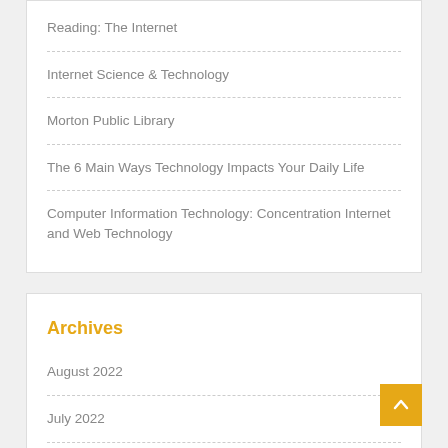Reading: The Internet
Internet Science & Technology
Morton Public Library
The 6 Main Ways Technology Impacts Your Daily Life
Computer Information Technology: Concentration Internet and Web Technology
Archives
August 2022
July 2022
June 2022